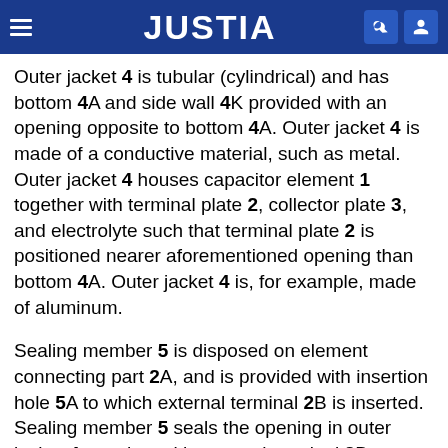JUSTIA
Outer jacket 4 is tubular (cylindrical) and has bottom 4A and side wall 4K provided with an opening opposite to bottom 4A. Outer jacket 4 is made of a conductive material, such as metal. Outer jacket 4 houses capacitor element 1 together with terminal plate 2, collector plate 3, and electrolyte such that terminal plate 2 is positioned nearer aforementioned opening than bottom 4A. Outer jacket 4 is, for example, made of aluminum.
Sealing member 5 is disposed on element connecting part 2A, and is provided with insertion hole 5A to which external terminal 2B is inserted. Sealing member 5 seals the opening in outer jacket 4 together with external terminal 2B. Sealing member 5 is, for example, made of butyl rubber.
Terminal plate 2 and sealing member 5 are detailed